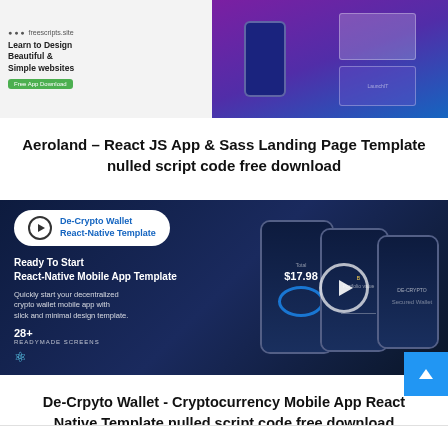[Figure (screenshot): Screenshot of Aeroland React JS App and Sass Landing Page Template website showing a purple/violet themed web design with phone mockup and desktop layout]
Aeroland – React JS App & Sass Landing Page Template nulled script code free download
[Figure (screenshot): De-Crypto Wallet React-Native Template promotional image showing dark blue themed crypto wallet mobile app with phone mockups, price $17.98, Ready To Start React-Native Mobile App Template, 28+ Readymade Screens]
De-Crpyto Wallet - Cryptocurrency Mobile App React Native Template nulled script code free download